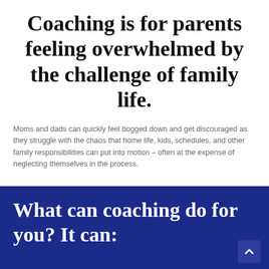Coaching is for parents feeling overwhelmed by the challenge of family life.
Moms and dads can quickly feel bogged down and get discouraged as they struggle with the chaos that home life, kids, schedules, and other family responsibilities can put into motion – often at the expense of neglecting themselves in the process.
What can coaching do for you? It can: